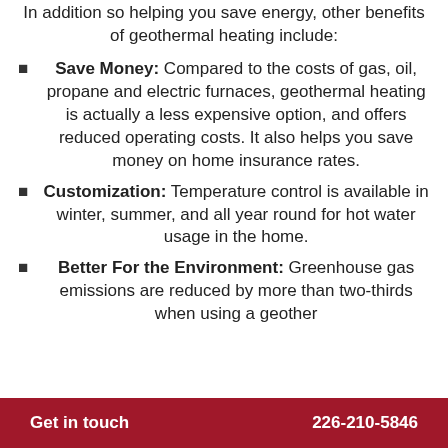In addition so helping you save energy, other benefits of geothermal heating include:
Save Money: Compared to the costs of gas, oil, propane and electric furnaces, geothermal heating is actually a less expensive option, and offers reduced operating costs. It also helps you save money on home insurance rates.
Customization: Temperature control is available in winter, summer, and all year round for hot water usage in the home.
Better For the Environment: Greenhouse gas emissions are reduced by more than two-thirds when using a geother...
Get in touch   226-210-5846